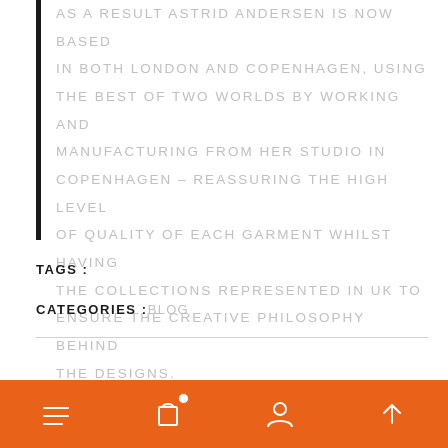AS A RESULT ASTRID ANDERSEN IS NOW BASED IN BOTH LONDON AND COPENHAGEN, USING THE BEST OF TWO WORLDS BY WORKING AND MANUFACTURING FROM HER STUDIO IN COPENHAGEN – REASSURING THE HIGH LEVEL OF QUALITY OF EACH GARMENT WHILST HAVING THE COLLECTIONS REPRESENTED IN UK TO ENSURE THE CREATIVE PHILOSOPHY BEHIND THE DESIGNS.
TAGS :
CATEGORIES : BLOG
Navigation bar with menu, cart, user, and scroll-to-top icons